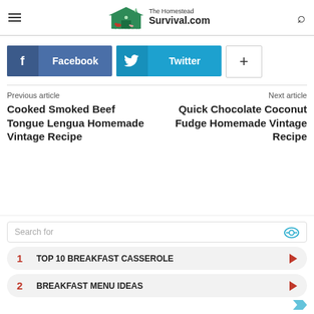The Homestead Survival.com
[Figure (screenshot): Social sharing buttons: Facebook, Twitter, and a plus button]
Previous article
Cooked Smoked Beef Tongue Lengua Homemade Vintage Recipe
Next article
Quick Chocolate Coconut Fudge Homemade Vintage Recipe
[Figure (screenshot): Ad widget with search bar and two items: 1. TOP 10 BREAKFAST CASSEROLE, 2. BREAKFAST MENU IDEAS]